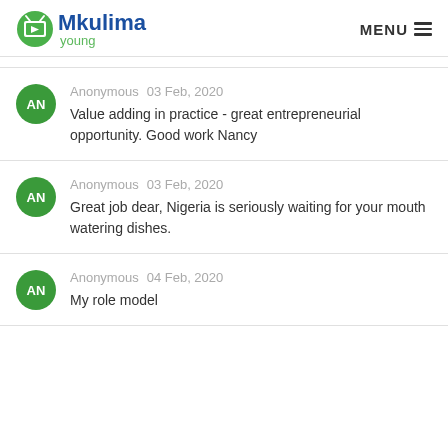Mkulima young  MENU
Anonymous  03 Feb, 2020
Value adding in practice - great entrepreneurial opportunity. Good work Nancy
Anonymous  03 Feb, 2020
Great job dear, Nigeria is seriously waiting for your mouth watering dishes.
Anonymous  04 Feb, 2020
My role model